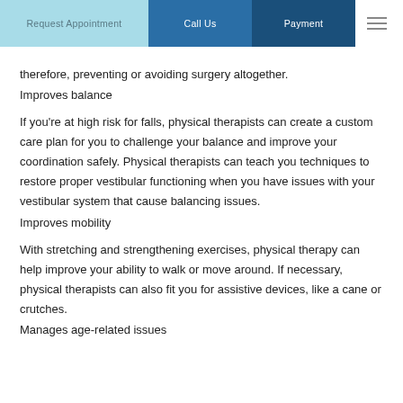Request Appointment | Call Us | Payment
therefore, preventing or avoiding surgery altogether.
Improves balance
If you're at high risk for falls, physical therapists can create a custom care plan for you to challenge your balance and improve your coordination safely. Physical therapists can teach you techniques to restore proper vestibular functioning when you have issues with your vestibular system that cause balancing issues.
Improves mobility
With stretching and strengthening exercises, physical therapy can help improve your ability to walk or move around. If necessary, physical therapists can also fit you for assistive devices, like a cane or crutches.
Manages age-related issues